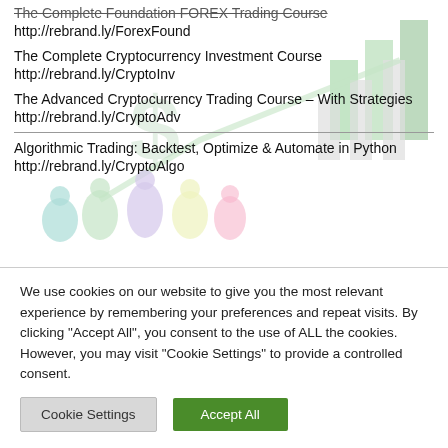The Complete Foundation FOREX Trading Course
http://rebrand.ly/ForexFound
The Complete Cryptocurrency Investment Course
http://rebrand.ly/CryptoInv
The Advanced Cryptocurrency Trading Course – With Strategies
http://rebrand.ly/CryptoAdv
Algorithmic Trading: Backtest, Optimize & Automate in Python
http://rebrand.ly/CryptoAlgo
[Figure (illustration): Colorful background illustration showing financial charts (bar charts with green bars), currency symbols (dollar sign in yellow circle), and silhouettes of people celebrating/jumping, overlaid behind the course links]
We use cookies on our website to give you the most relevant experience by remembering your preferences and repeat visits. By clicking "Accept All", you consent to the use of ALL the cookies. However, you may visit "Cookie Settings" to provide a controlled consent.
Cookie Settings
Accept All